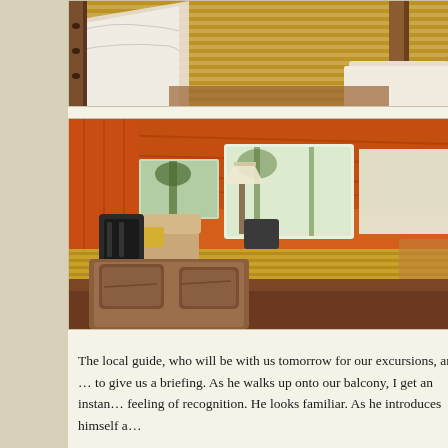[Figure (photo): Close-up top view of a wooden bed with woven bamboo/reed mat surface and white bedding, rustic wooden bed frame visible]
[Figure (photo): Interior of a luxury safari tent with orange canvas walls and ceiling, bamboo mat floor, wood-framed bed with brown bedding in foreground, armchair, backpacks, lamp, and large mesh windows showing trees outside]
The local guide, who will be with us tomorrow for our excursions, ar... to give us a briefing. As he walks up onto our balcony, I get an instan... feeling of recognition. He looks familiar. As he introduces himself a...